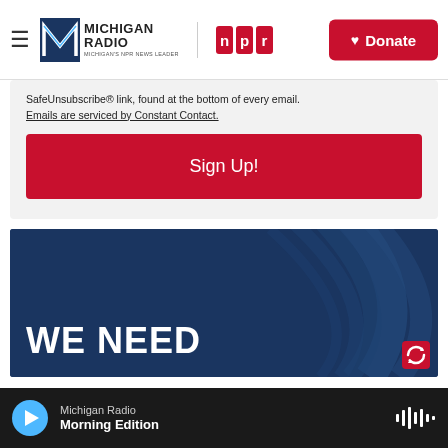Michigan Radio / NPR — Donate
SafeUnsubscribe® link, found at the bottom of every email. Emails are serviced by Constant Contact.
Sign Up!
[Figure (illustration): Dark navy blue banner image with large bold white text reading 'WE NEED' and a decorative radio wave / microphone arc design in the background]
Michigan Radio — Morning Edition (audio player bar)